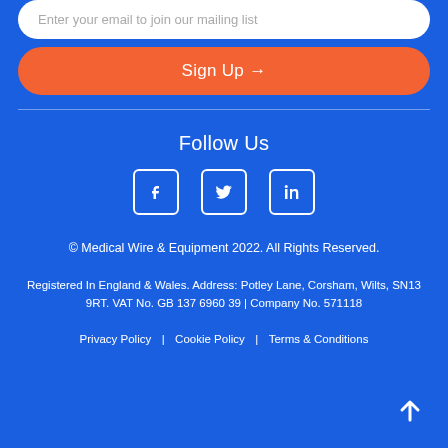Enter your email to join our mailing list
Sign Up →
Follow Us
[Figure (illustration): Three social media icons: Facebook, Twitter, LinkedIn in white on blue rounded square borders]
© Medical Wire & Equipment 2022. All Rights Reserved.
Registered In England & Wales. Address: Potley Lane, Corsham, Wilts, SN13 9RT. VAT No. GB 137 6960 39 | Company No. 571118
Privacy Policy | Cookie Policy | Terms & Conditions